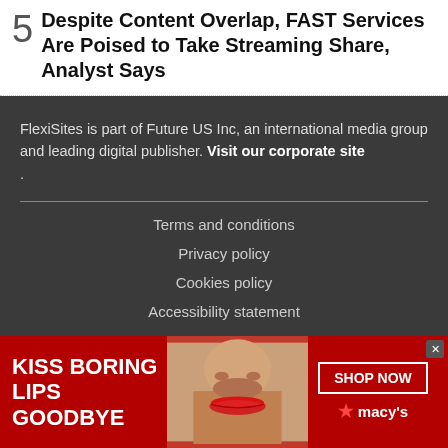Despite Content Overlap, FAST Services Are Poised to Take Streaming Share, Analyst Says
FlexiSites is part of Future US Inc, an international media group and leading digital publisher. Visit our corporate site .
Terms and conditions
Privacy policy
Cookies policy
Accessibility statement
[Figure (photo): Advertisement banner for Macy's featuring text 'KISS BORING LIPS GOODBYE' on red background with a woman's face and red lips, a 'SHOP NOW' button, and the Macy's star logo]